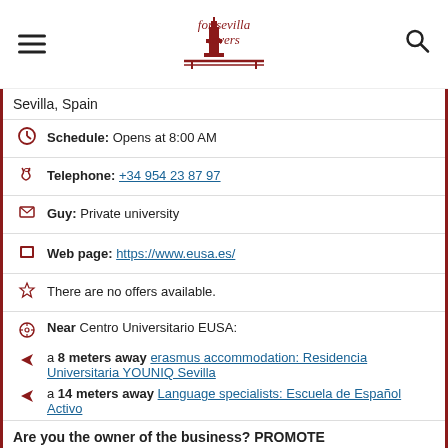for sevilla lovers
Sevilla, Spain
Schedule: Opens at 8:00 AM
Telephone: +34 954 23 87 97
Guy: Private university
Web page: https://www.eusa.es/
There are no offers available.
Near Centro Universitario EUSA:
a 8 meters away erasmus accommodation: Residencia Universitaria YOUNIQ Sevilla
a 14 meters away Language specialists: Escuela de Español Activo
Are you the owner of the business? PROMOTE